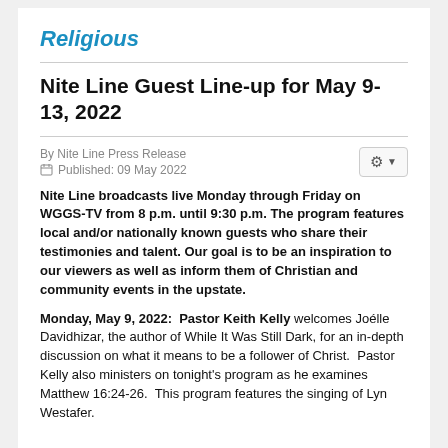Religious
Nite Line Guest Line-up for May 9-13, 2022
By Nite Line Press Release
Published: 09 May 2022
Nite Line broadcasts live Monday through Friday on WGGS-TV from 8 p.m. until 9:30 p.m. The program features local and/or nationally known guests who share their testimonies and talent. Our goal is to be an inspiration to our viewers as well as inform them of Christian and community events in the upstate.
Monday, May 9, 2022:  Pastor Keith Kelly welcomes Joélle Davidhizar, the author of While It Was Still Dark, for an in-depth discussion on what it means to be a follower of Christ.  Pastor Kelly also ministers on tonight's program as he examines Matthew 16:24-26.  This program features the singing of Lyn Westafer.